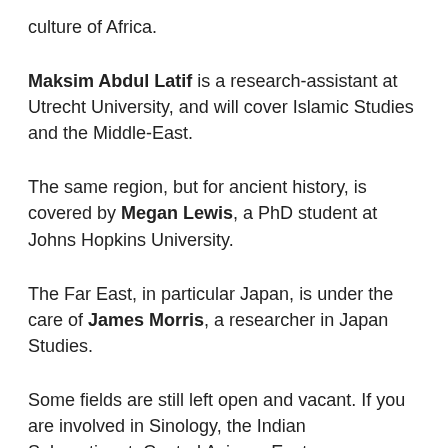culture of Africa.
Maksim Abdul Latif is a research-assistant at Utrecht University, and will cover Islamic Studies and the Middle-East.
The same region, but for ancient history, is covered by Megan Lewis, a PhD student at Johns Hopkins University.
The Far East, in particular Japan, is under the care of James Morris, a researcher in Japan Studies.
Some fields are still left open and vacant. If you are involved in Sinology, the Indian Subcontinent, Central Asia, or Eastern Christianity, and you have or want to get experience in Digital Humanities, you should come and write for us! These areas are especially attractive to us, but feel free to pitch a different idea. If you think you can join